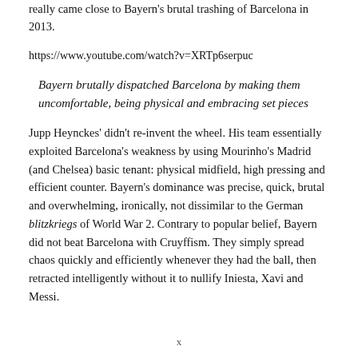really came close to Bayern's brutal trashing of Barcelona in 2013.
https://www.youtube.com/watch?v=XRTp6serpuc
Bayern brutally dispatched Barcelona by making them uncomfortable, being physical and embracing set pieces
Jupp Heynckes' didn't re-invent the wheel. His team essentially exploited Barcelona's weakness by using Mourinho's Madrid (and Chelsea) basic tenant: physical midfield, high pressing and efficient counter. Bayern's dominance was precise, quick, brutal and overwhelming, ironically, not dissimilar to the German blitzkriegs of World War 2. Contrary to popular belief, Bayern did not beat Barcelona with Cruyffism. They simply spread chaos quickly and efficiently whenever they had the ball, then retracted intelligently without it to nullify Iniesta, Xavi and Messi.
x